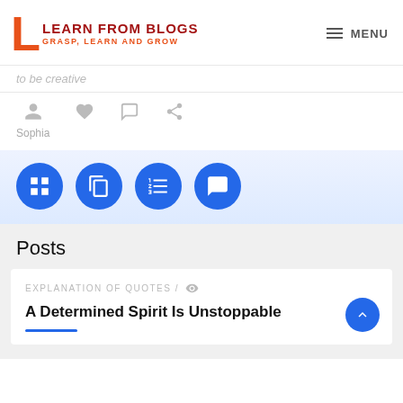LEARN FROM BLOGS — GRASP, LEARN AND GROW | MENU
to be creative
Sophia
[Figure (infographic): Four blue circular icon buttons: grid/list icon, document copy icon, numbered list icon, comment/speech bubble icon]
Posts
EXPLANATION OF QUOTES /
A Determined Spirit Is Unstoppable